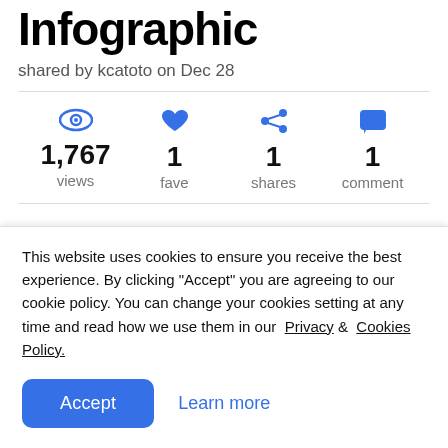Infographic
shared by kcatoto on Dec 28
1,767 views  1 fave  1 shares  1 comment
Document Management Software for Small and Medium Businesses - 8 Steps
This website uses cookies to ensure you receive the best experience. By clicking "Accept" you are agreeing to our cookie policy. You can change your cookies setting at any time and read how we use them in our Privacy & Cookies Policy.
Accept  Learn more